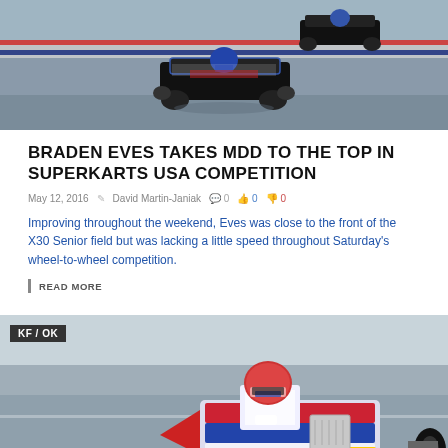[Figure (photo): Karting race photo showing two karts on a race track, black and white kart in the foreground]
BRADEN EVES TAKES MDD TO THE TOP IN SUPERKARTS USA COMPETITION
May 12, 2016  David Martin-Janiak  0  0  0
Improving throughout the weekend, Eves was close to the front of the X30 Senior field but was lacking a little speed throughout Saturday's wheel-to-wheel competition.
READ MORE
[Figure (photo): Kart racer wearing red helmet and white racing suit driving kart number 233 on a race track, with KF/OK category badge in top left corner]